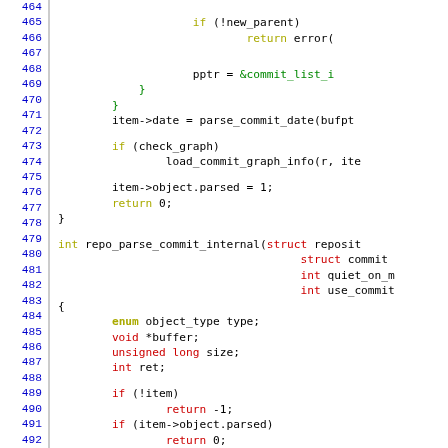[Figure (screenshot): Source code listing in C, lines 464-494, showing git commit parsing functions with syntax highlighting: line numbers in blue on left, keywords in olive/gold, string values in green, other code in black and red.]